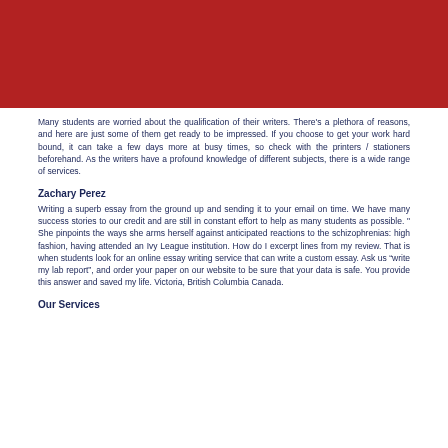[Figure (logo): SMC Private Limited logo on dark red header bar with diagonal stripe pattern]
Many students are worried about the qualification of their writers. There's a plethora of reasons, and here are just some of them get ready to be impressed. If you choose to get your work hard bound, it can take a few days more at busy times, so check with the printers / stationers beforehand. As the writers have a profound knowledge of different subjects, there is a wide range of services.
Zachary Perez
Writing a superb essay from the ground up and sending it to your email on time. We have many success stories to our credit and are still in constant effort to help as many students as possible. " She pinpoints the ways she arms herself against anticipated reactions to the schizophrenias: high fashion, having attended an Ivy League institution. How do I excerpt lines from my review. That is when students look for an online essay writing service that can write a custom essay. Ask us “write my lab report”, and order your paper on our website to be sure that your data is safe. You provide this answer and saved my life. Victoria, British Columbia Canada.
Our Services